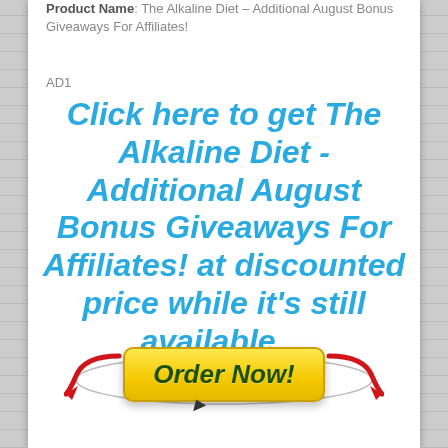Product Name: The Alkaline Diet – Additional August Bonus Giveaways For Affiliates!
AD1
Click here to get The Alkaline Diet - Additional August Bonus Giveaways For Affiliates! at discounted price while it's still available…
[Figure (other): Yellow 'Order Now!' button with red curved arrows on left and right pointing toward the button, and a cursor icon below the button, surrounded by a faint oval outline.]